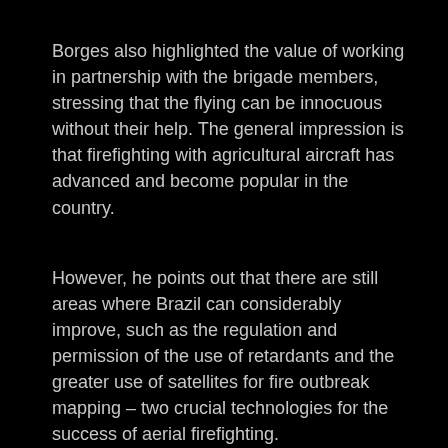Borges also highlighted the value of working in partnership with the brigade members, stressing that the flying can be innocuous without their help. The general impression is that firefighting with agricultural aircraft has advanced and become popular in the country.
However, he points out that there are still areas where Brazil can considerably improve, such as the regulation and permission of the use of retardants and the greater use of satellites for fire outbreak mapping – two crucial technologies for the success of aerial firefighting.